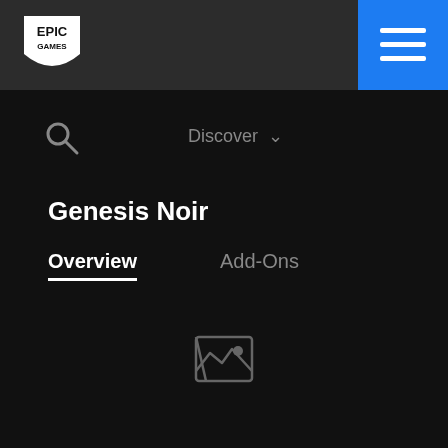[Figure (logo): Epic Games logo in top navigation bar]
[Figure (screenshot): Blue hamburger menu button in top right corner]
[Figure (illustration): Search magnifying glass icon]
Discover ∨
Genesis Noir
Overview
Add-Ons
[Figure (illustration): Broken image placeholder icon in center of page]